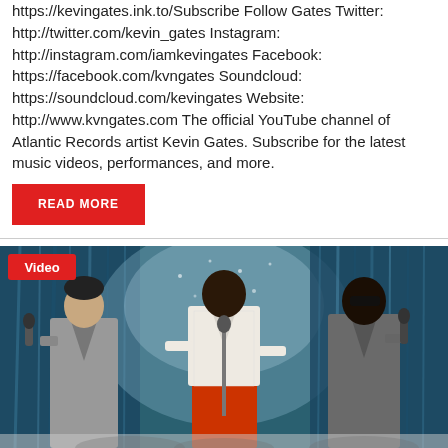https://kevingates.ink.to/Subscribe Follow Gates Twitter: http://twitter.com/kevin_gates Instagram: http://instagram.com/iamkevingates Facebook: https://facebook.com/kvngates Soundcloud: https://soundcloud.com/kevingates Website: http://www.kvngates.com The official YouTube channel of Atlantic Records artist Kevin Gates. Subscribe for the latest music videos, performances, and more.
READ MORE
[Figure (photo): Three performers on stage in front of a shimmery blue curtain backdrop. Left performer wears a gray outfit holding a microphone. Center performer wears a white patterned jacket with red pants singing into a vintage standing microphone. Right performer wears a gray suit with sunglasses. Red 'Video' label badge in top-left corner of the image.]